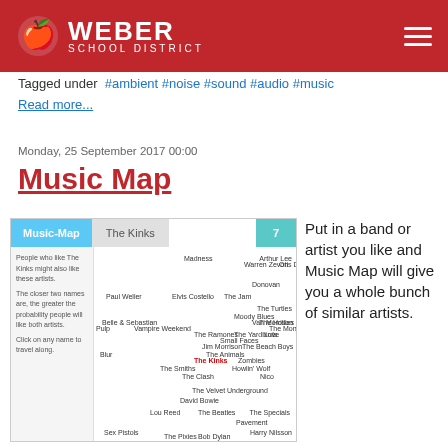Weber School District
Tagged under #ambient #noise #sound #audio #music
Read more...
Monday, 25 September 2017 00:00
Music Map
[Figure (screenshot): Music-Map website screenshot showing The Kinks search results with a constellation-style map of related artists including The Jam, The Smiths, The Clash, The Velvet Underground, David Bowie, Lou Reed, The Beatles, Bob Dylan, The Rolling Stones, The Doors, The Who, and many others.]
Put in a band or artist you like and Music Map will give you a whole bunch of similar artists.